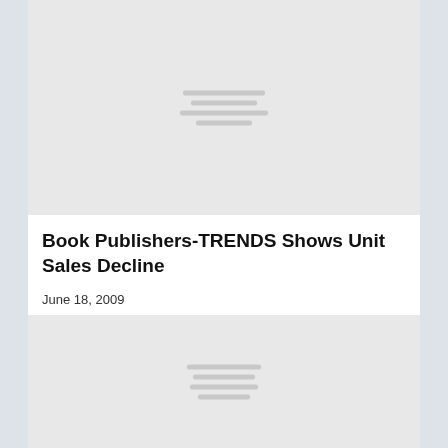[Figure (other): Gray placeholder card with horizontal lines in center, representing a loading or redacted content block]
Book Publishers-TRENDS Shows Unit Sales Decline
June 18, 2009
[Figure (other): Gray placeholder card with horizontal lines in center, representing a loading or redacted content block]